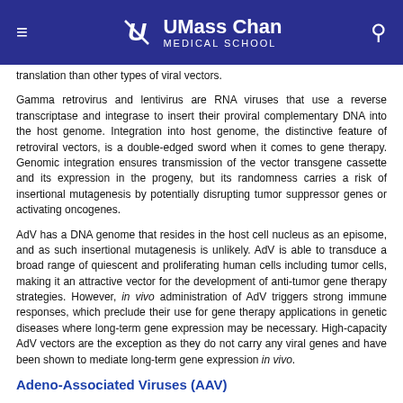UMass Chan Medical School
translation than other types of viral vectors.
Gamma retrovirus and lentivirus are RNA viruses that use a reverse transcriptase and integrase to insert their proviral complementary DNA into the host genome. Integration into host genome, the distinctive feature of retroviral vectors, is a double-edged sword when it comes to gene therapy. Genomic integration ensures transmission of the vector transgene cassette and its expression in the progeny, but its randomness carries a risk of insertional mutagenesis by potentially disrupting tumor suppressor genes or activating oncogenes.
AdV has a DNA genome that resides in the host cell nucleus as an episome, and as such insertional mutagenesis is unlikely. AdV is able to transduce a broad range of quiescent and proliferating human cells including tumor cells, making it an attractive vector for the development of anti-tumor gene therapy strategies. However, in vivo administration of AdV triggers strong immune responses, which preclude their use for gene therapy applications in genetic diseases where long-term gene expression may be necessary. High-capacity AdV vectors are the exception as they do not carry any viral genes and have been shown to mediate long-term gene expression in vivo.
Adeno-Associated Viruses (AAV)